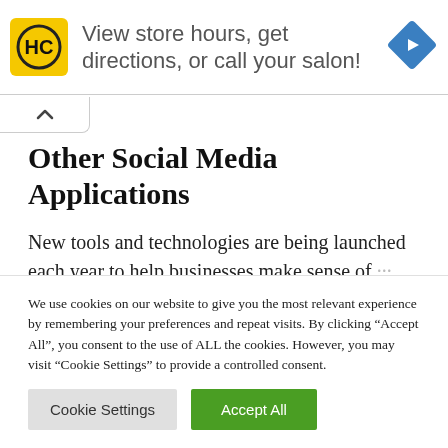[Figure (infographic): Ad banner with HC logo (yellow square with black HC letters), text 'View store hours, get directions, or call your salon!', and a blue diamond navigation icon on the right]
Other Social Media Applications
New tools and technologies are being launched each year to help businesses make sense of
We use cookies on our website to give you the most relevant experience by remembering your preferences and repeat visits. By clicking “Accept All”, you consent to the use of ALL the cookies. However, you may visit "Cookie Settings" to provide a controlled consent.
Cookie Settings | Accept All